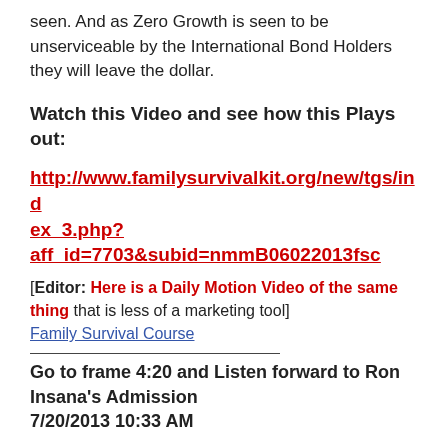seen. And as Zero Growth is seen to be unserviceable by the International Bond Holders they will leave the dollar.
Watch this Video and see how this Plays out:
http://www.familysurvivalkit.org/new/tgs/index_3.php?aff_id=7703&subid=nmmB06022013fsc
[Editor: Here is a Daily Motion Video of the same thing that is less of a marketing tool] Family Survival Course
Go to frame 4:20 and Listen forward to Ron Insana's Admission 7/20/2013 10:33 AM
Go to frame 4:20 and Listen forward to Ron Insana's Admission that the Equity markets are strong because of the FED Policy and this will another form...